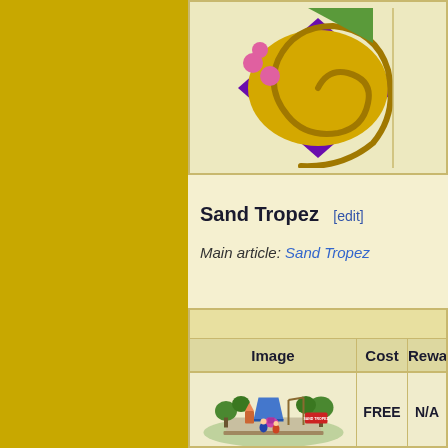[Figure (illustration): Top portion of a table showing a spiral/swirl decorative element on a purple diamond background with pink circles, set against a cream/beige table background. Partially cropped at top.]
Sand Tropez [edit]
Main article: Sand Tropez
| Image | Cost | Reward |
| --- | --- | --- |
| [Sand Tropez park illustration] | FREE | N/A |